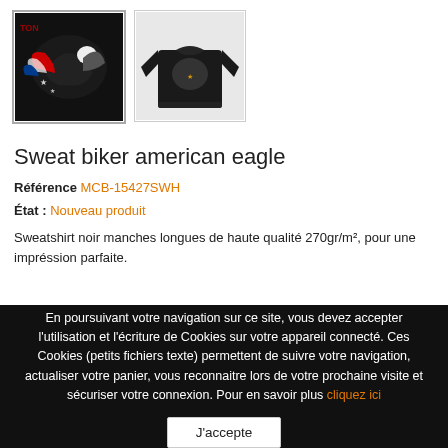[Figure (photo): Two product thumbnail images: first shows an eagle graphic on black background, second shows a black long-sleeve sweatshirt]
Sweat biker american eagle
Référence MCB-15427SWH
État : Nouveau produit
Sweatshirt noir manches longues de haute qualité 270gr/m², pour une impréssion parfaite.
En poursuivant votre navigation sur ce site, vous devez accepter l'utilisation et l'écriture de Cookies sur votre appareil connecté. Ces Cookies (petits fichiers texte) permettent de suivre votre navigation, actualiser votre panier, vous reconnaitre lors de votre prochaine visite et sécuriser votre connexion. Pour en savoir plus cliquez ici
J'accepte